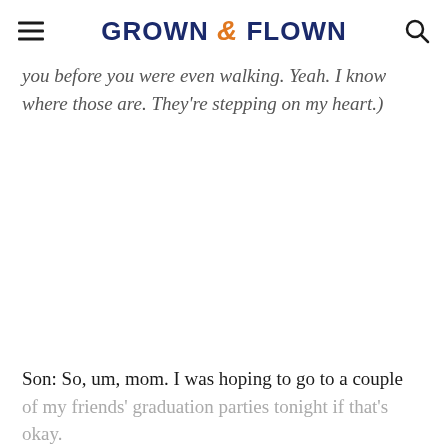GROWN & FLOWN
you before you were even walking. Yeah. I know where those are. They're stepping on my heart.)
Son: So, um, mom. I was hoping to go to a couple of my friends' graduation parties tonight if that's okay.